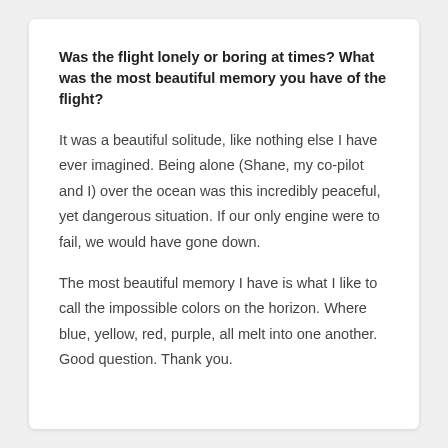Was the flight lonely or boring at times? What was the most beautiful memory you have of the flight?
It was a beautiful solitude, like nothing else I have ever imagined. Being alone (Shane, my co-pilot and I) over the ocean was this incredibly peaceful, yet dangerous situation. If our only engine were to fail, we would have gone down.
The most beautiful memory I have is what I like to call the impossible colors on the horizon. Where blue, yellow, red, purple, all melt into one another. Good question. Thank you.